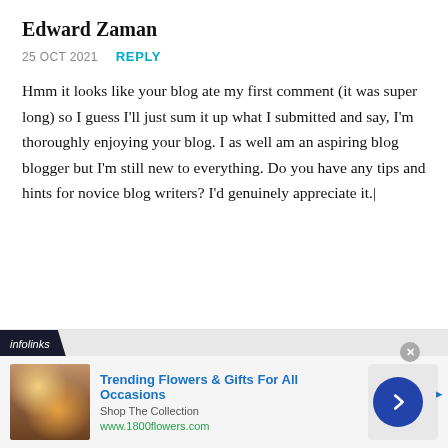Edward Zaman
25 OCT 2021   REPLY
Hmm it looks like your blog ate my first comment (it was super long) so I guess I'll just sum it up what I submitted and say, I'm thoroughly enjoying your blog. I as well am an aspiring blog blogger but I'm still new to everything. Do you have any tips and hints for novice blog writers? I'd genuinely appreciate it.|
[Figure (infographic): Infolinks advertisement banner featuring a woman holding flowers. Ad title: Trending Flowers & Gifts For All Occasions. Subtitle: Shop The Collection. URL: www.1800flowers.com. Navigation arrow button on right.]